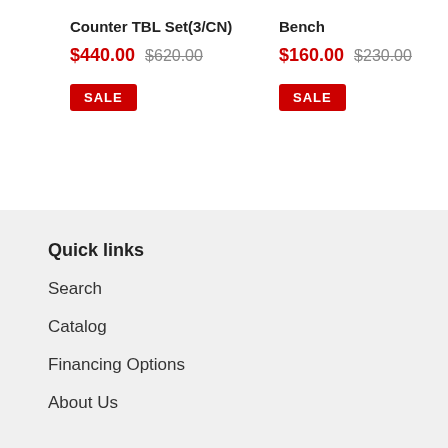Counter TBL Set(3/CN)
$440.00 $620.00
SALE
Bench
$160.00 $230.00
SALE
Quick links
Search
Catalog
Financing Options
About Us